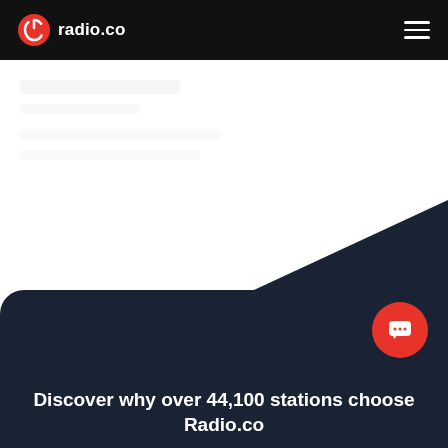radio.co
[Figure (screenshot): radio.co website hero section with white background and partial content]
Discover why over 44,100 stations choose Radio.co